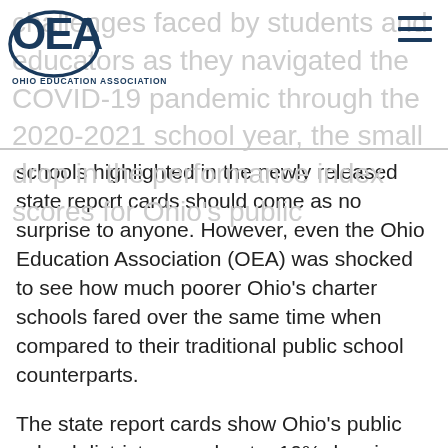OEA — OHIO EDUCATION ASSOCIATION
challenges faced by students and educators as they navigated the COVID-19 pandemic through the 2020-2021 school year, the small drop in the performance index scores for Ohio's public schools highlighted in the newly released state report cards should come as no surprise to anyone. However, even the Ohio Education Association (OEA) was shocked to see how much poorer Ohio's charter schools fared over the same time when compared to their traditional public school counterparts.
The state report cards show Ohio's public school districts saw about a 10% drop in their Performance Index (PI) scores from the 2018-19 schoolyear to the 2020-2021 one. Over that same period, charter schools in the state saw a 25% drop – a 2.5 times greater degree of loss. Breakthrough Schools, which are often touted by charter advocates as shining examples of success, saw the seven worst performance drops in the state, with PI scores plummeting 77